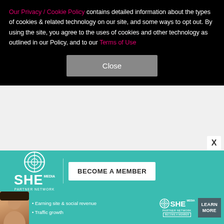Our Privacy / Cookie Policy contains detailed information about the types of cookies & related technology on our site, and some ways to opt out. By using the site, you agree to the uses of cookies and other technology as outlined in our Policy, and to our Terms of Use
Close
together." The pair went public with their romance in September 2018, less than a year after Teddy announced that she was transitioning. That November, they announced their engagement.
RELATED: Stars who split in 2019
[Figure (screenshot): SHE Media Partner Network - Become a Member advertisement banner in teal]
[Figure (screenshot): SHE Media Partner Network - Earning site & social revenue / Traffic growth - Learn More advertisement banner]